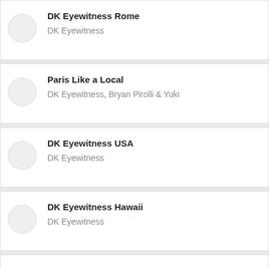DK Eyewitness Rome
DK Eyewitness
Paris Like a Local
DK Eyewitness, Bryan Pirolli & Yuki
DK Eyewitness USA
DK Eyewitness
DK Eyewitness Hawaii
DK Eyewitness